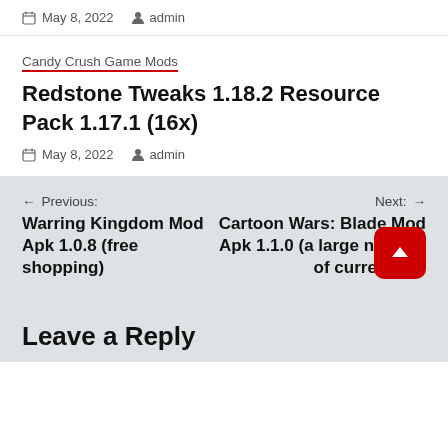May 8, 2022  admin
Candy Crush Game Mods
Redstone Tweaks 1.18.2 Resource Pack 1.17.1 (16x)
May 8, 2022  admin
← Previous: Warring Kingdom Mod Apk 1.0.8 (free shopping)
Next: → Cartoon Wars: Blade Mod Apk 1.1.0 (a large number of currencies)
Leave a Reply